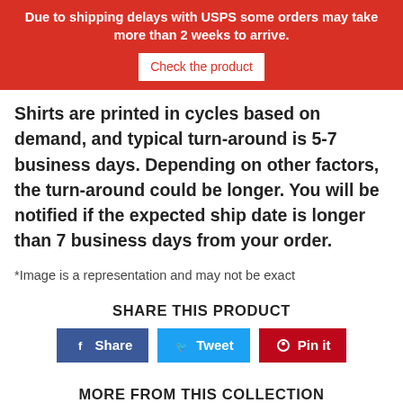Due to shipping delays with USPS some orders may take more than 2 weeks to arrive. Check the product
Shirts are printed in cycles based on demand, and typical turn-around is 5-7 business days. Depending on other factors, the turn-around could be longer. You will be notified if the expected ship date is longer than 7 business days from your order.
*Image is a representation and may not be exact
SHARE THIS PRODUCT
Share  Tweet  Pin it
MORE FROM THIS COLLECTION